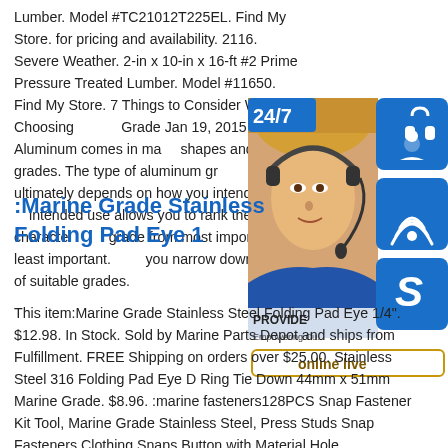Lumber. Model #TC21012T225EL. Find My Store. for pricing and availability. 2116. Severe Weather. 2-in x 10-in x 16-ft #2 Prime Pressure Treated Lumber. Model #11650. Find My Store. 7 Things to Consider When Choosing Grade Jan 19, 2015 · Aluminum comes in many shapes and grades. The type of aluminum grade ultimately depends on how you intend to use it. Knowing the intended use allows you to rank the characteristics of each grade from most important to least important. This helps you narrow down the list of suitable grades.
[Figure (illustration): Customer service widget showing a woman wearing a headset, with a 24/7 badge, three icon buttons (headset/support, phone, Skype), a 'PROVIDE / Empowering Cu...' label, and an 'online live' button.]
:Marine Grade Stainless Folding Pad Eye 1
This item:Marine Grade Stainless Steel Folding Pad Eye 1/4". $12.98. In Stock. Sold by Marine Parts Depot and ships from Fulfillment. FREE Shipping on orders over $25.00. Stainless Steel 316 Folding Pad Eye D Ring Tie Down 44mm x 51mm Marine Grade. $8.96. :marine fasteners128PCS Snap Fastener Kit Tool, Marine Grade Stainless Steel, Press Studs Snap Fasteners Clothing Snaps Button with Material Hole